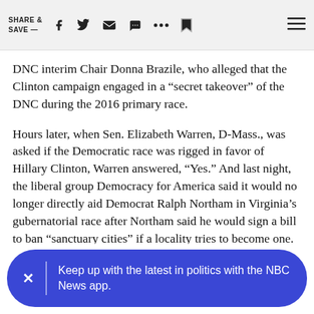SHARE & SAVE —
DNC interim Chair Donna Brazile, who alleged that the Clinton campaign engaged in a “secret takeover” of the DNC during the 2016 primary race.
Hours later, when Sen. Elizabeth Warren, D-Mass., was asked if the Democratic race was rigged in favor of Hillary Clinton, Warren answered, “Yes.” And last night, the liberal group Democracy for America said it would no longer directly aid Democrat Ralph Northam in Virginia’s gubernatorial race after Northam said he would sign a bill to ban “sanctuary cities” if a locality tries to become one. (Right now, there are no sanctuary cities in Virginia.)
Keep up with the latest in politics with the NBC News app.